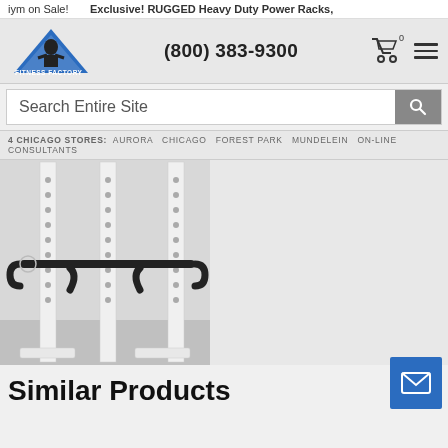iym on Sale! Exclusive! RUGGED Heavy Duty Power Racks,
[Figure (logo): Fitness Factory .com logo with boxer figure and blue triangle]
(800) 383-9300
4 CHICAGO STORES: AURORA CHICAGO FOREST PARK MUNDELEIN ON-LINE CONSULTANTS
[Figure (photo): White power rack / squat rack with black dip bar attachment, shown against white/grey background]
Similar Products
[Figure (other): Blue email/envelope button icon in lower right corner]